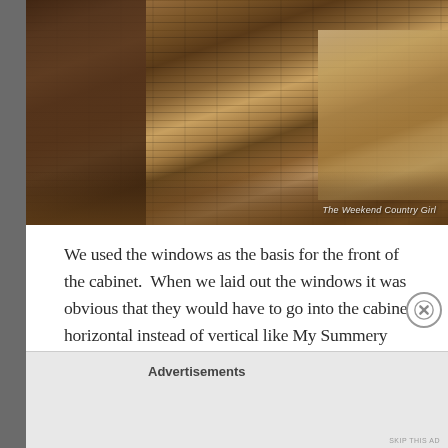[Figure (photo): Photograph of a large stack of old, weathered wooden lumber planks and boards piled outdoors on the ground, surrounded by pine needles and debris. Lighter boards visible on the right side. A shoe is partially visible at the right edge. Watermark reads 'The Weekend Country Girl'.]
We used the windows as the basis for the front of the cabinet.  When we laid out the windows it was obvious that they would have to go into the cabinet horizontal instead of vertical like My Summery Umbrella was able to do.  The
Advertisements